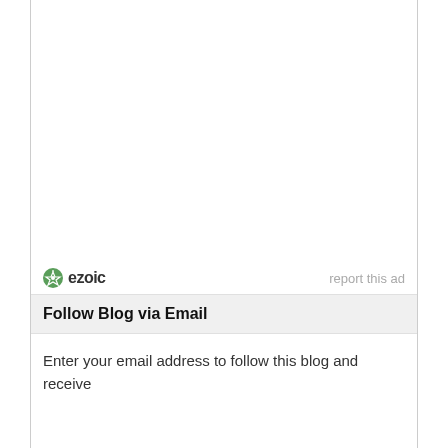[Figure (logo): Ezoic logo with green compass icon and bold text 'ezoic', with 'report this ad' link to the right]
Follow Blog via Email
Enter your email address to follow this blog and receive